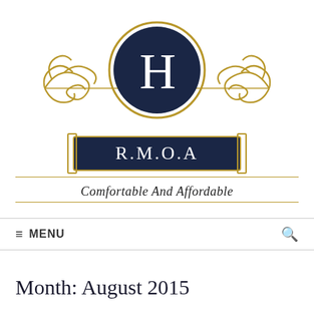[Figure (logo): H R.M.O.A logo with ornate gold scrollwork, dark navy circle with H, navy banner reading R.M.O.A, and tagline Comfortable And Affordable]
≡ MENU
Month: August 2015